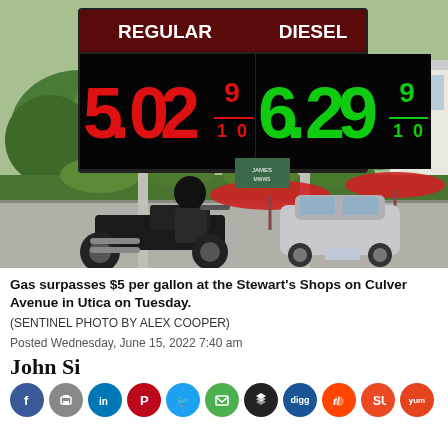[Figure (photo): Gas station price sign showing Regular $5.02 9/10 and Diesel $6.29 9/10 at Stewart's Shops, with a motorcyclist and a silver car visible underneath the sign, red umbrellas in background, green trees and bushes.]
Gas surpasses $5 per gallon at the Stewart's Shops on Culver Avenue in Utica on Tuesday.
(SENTINEL PHOTO BY ALEX COOPER)
Posted Wednesday, June 15, 2022 7:40 am
John Si...